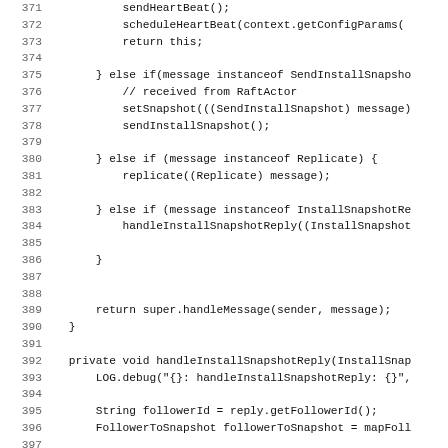Source code listing, lines 371-402, Java code showing handleMessage and handleInstallSnapshotReply methods